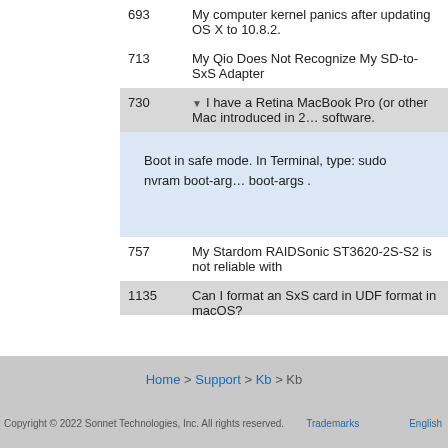| ID | Topic |
| --- | --- |
| 693 | My computer kernel panics after updating OS X to 10.8.2. |
| 713 | My Qio Does Not Recognize My SD-to-SxS Adapter |
| 730 | I have a Retina MacBook Pro (or other Mac introduced in 2… software. |
|  | Boot in safe mode. In Terminal, type: sudo nvram boot-arg… boot-args . |
| 757 | My Stardom RAIDSonic ST3620-2S-S2 is not reliable with |
| 1135 | Can I format an SxS card in UDF format in macOS? |
Home > Support > Kb > Kb
Copyright © 2022 Sonnet Technologies, Inc. All rights reserved. Trademarks English